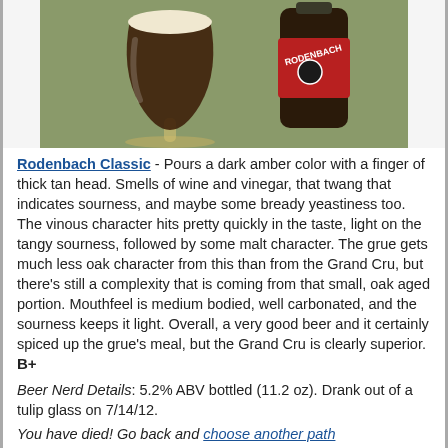[Figure (photo): A dark beer in a tulip/snifter glass with a thick tan head, next to a Rodenbach branded dark bottle with a red label, on a green surface.]
Rodenbach Classic - Pours a dark amber color with a finger of thick tan head. Smells of wine and vinegar, that twang that indicates sourness, and maybe some bready yeastiness too. The vinous character hits pretty quickly in the taste, light on the tangy sourness, followed by some malt character. The grue gets much less oak character from this than from the Grand Cru, but there's still a complexity that is coming from that small, oak aged portion. Mouthfeel is medium bodied, well carbonated, and the sourness keeps it light. Overall, a very good beer and it certainly spiced up the grue's meal, but the Grand Cru is clearly superior. B+
Beer Nerd Details: 5.2% ABV bottled (11.2 oz). Drank out of a tulip glass on 7/14/12.
You have died! Go back and choose another path